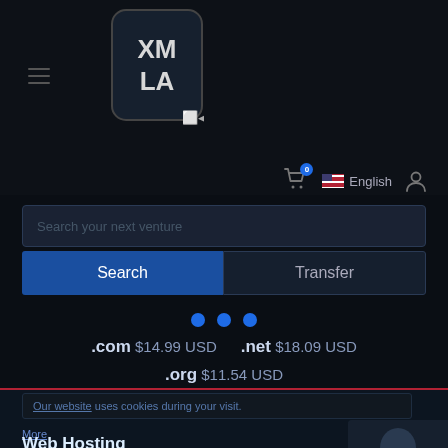[Figure (logo): XMLA logo in rounded rectangle with XM LA text]
English
Search your next venture
Search   Transfer
·com $14.99 USD   ·net $18.09 USD
·org $11.54 USD
Our website uses cookies during your visit.
More
Web Hosting
Get a website that works It's quick and